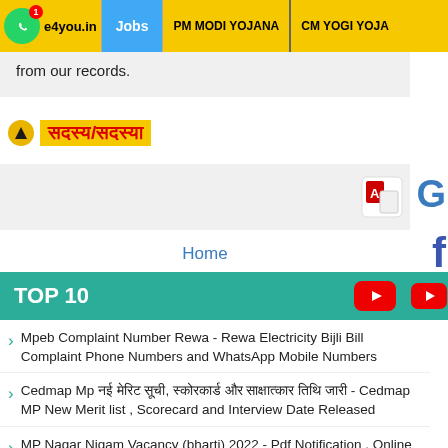e4you.in | Jobs | PM MODI YOJANA | CM YOGI YOJA...
from our records.
सदस्य/सदस्या
Home
TOP 10
Mpeb Complaint Number Rewa - Rewa Electricity Bijli Bill Complaint Phone Numbers and WhatsApp Mobile Numbers
Cedmap Mp नई मेरिट सूची, स्कोरकार्ड और साक्षात्कार तिथि जारी - Cedmap MP New Merit list , Scorecard and Interview Date Released
MP Nagar Nigam Vacancy (bharti) 2022 - Pdf Notification , Online Apply Link , Last Date , Syllabus & Official Website